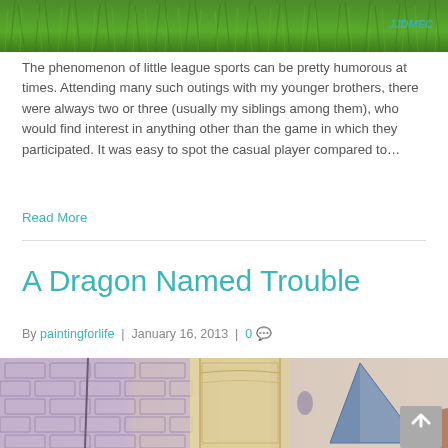[Figure (photo): Green grass background image at top of page with a watermark text in teal]
The phenomenon of little league sports can be pretty humorous at times. Attending many such outings with my younger brothers, there were always two or three (usually my siblings among them), who would find interest in anything other than the game in which they participated. It was easy to spot the casual player compared to…
Read More
A Dragon Named Trouble
By paintingforlife | January 16, 2013 | 0
[Figure (photo): Watercolor illustration showing a brick wall, stone column, and a blue cone/dragon figure on the right side]